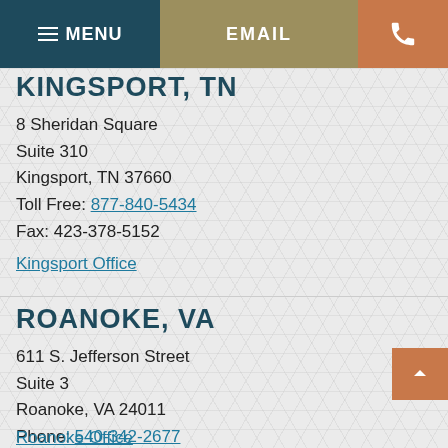MENU | EMAIL | [phone icon]
KINGSPORT, TN
8 Sheridan Square
Suite 310
Kingsport, TN 37660
Toll Free: 877-840-5434
Fax: 423-378-5152
Kingsport Office
ROANOKE, VA
611 S. Jefferson Street
Suite 3
Roanoke, VA 24011
Phone: 540-342-2677
Roanoke Office